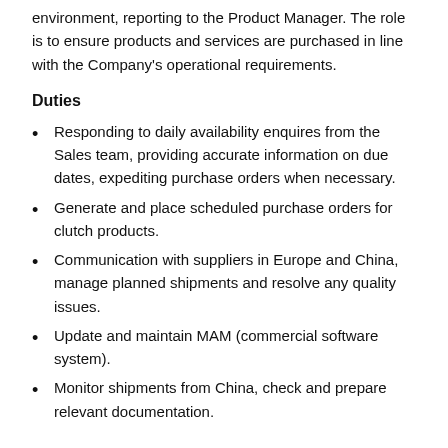environment, reporting to the Product Manager. The role is to ensure products and services are purchased in line with the Company's operational requirements.
Duties
Responding to daily availability enquires from the Sales team, providing accurate information on due dates, expediting purchase orders when necessary.
Generate and place scheduled purchase orders for clutch products.
Communication with suppliers in Europe and China, manage planned shipments and resolve any quality issues.
Update and maintain MAM (commercial software system).
Monitor shipments from China, check and prepare relevant documentation.